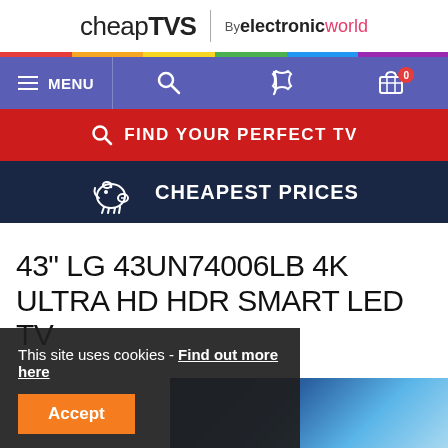cheapTVS | By electronicworld
[Figure (screenshot): Navigation bar with hamburger menu icon, MENU text, search icon, phone icon, and cart icon with badge showing 0]
[Figure (screenshot): Red banner with search icon and text FIND YOUR PERFECT TV]
[Figure (screenshot): Dark navy banner with piggy bank icon and text CHEAPEST PRICES]
43" LG 43UN74006LB 4K ULTRA HD HDR SMART LED TV
This site uses cookies - Find out more here
Accept